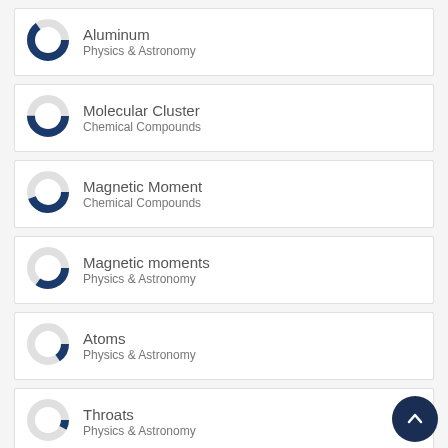Aluminum – Physics & Astronomy
Molecular Cluster – Chemical Compounds
Magnetic Moment – Chemical Compounds
Magnetic moments – Physics & Astronomy
Atoms – Physics & Astronomy
Throats – Physics & Astronomy
View full fingerprint ›